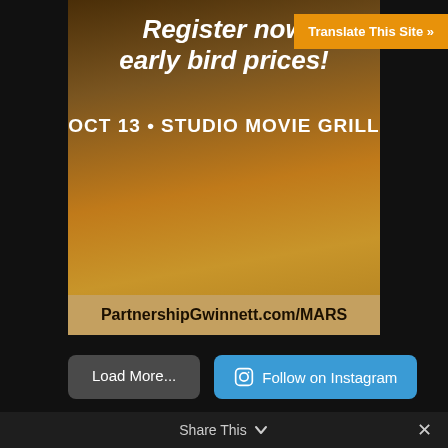[Figure (screenshot): Event banner showing 'Register now early bird prices! OCT 13 • STUDIO MOVIE GRILL' with URL PartnershipGwinnett.com/MARS on an orange/brown background]
Translate This Site »
Load More...
Follow on Instagram
Quick Links
Gwinnett County Government
Georgia Department of Economic Development
Gwinnett Chamber of Commerce
Georgia Innovation Crescent Regional Partnership
Share This